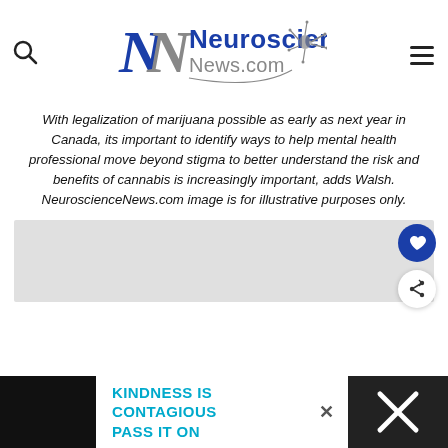Neuroscience News.com
With legalization of marijuana possible as early as next year in Canada, its important to identify ways to help mental health professional move beyond stigma to better understand the risk and benefits of cannabis is increasingly important, adds Walsh. NeuroscienceNews.com image is for illustrative purposes only.
[Figure (other): Gray placeholder content box below the caption]
KINDNESS IS CONTAGIOUS PASS IT ON